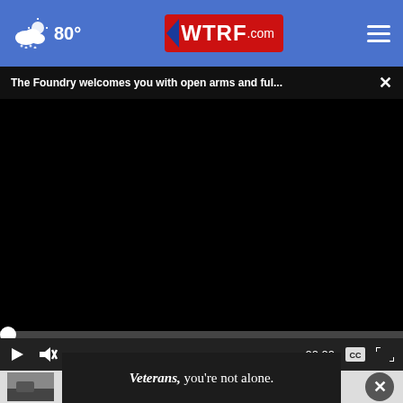80° WTRF.com
The Foundry welcomes you with open arms and ful...
[Figure (screenshot): Black video player area showing a paused or unloaded video]
00:00
Bridge crash
[Figure (photo): Advertisement banner reading: Veterans, you're not alone. with a person sitting in a chair in the background]